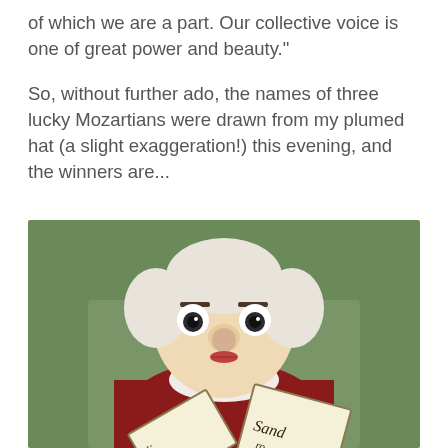of which we are a part. Our collective voice is one of great power and beauty."
So, without further ado, the names of three lucky Mozartians were drawn from my plumed hat (a slight exaggeration!) this evening, and the winners are...
[Figure (photo): A Mozart plush/stuffed doll with a white powdered wig, round nose, red lips, wearing a red and white costume with lace collar, holding two cards with handwritten names partially visible: one starting with letters suggesting a name, and another reading 'Sand...' — against a green background.]